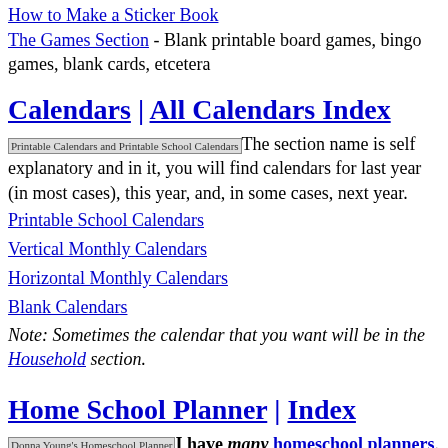How to Make a Sticker Book
The Games Section - Blank printable board games, bingo games, blank cards, etcetera
Calendars | All Calendars Index
The section name is self explanatory and in it, you will find calendars for last year (in most cases), this year, and, in some cases, next year.
Printable School Calendars
Vertical Monthly Calendars
Horizontal Monthly Calendars
Blank Calendars
Note: Sometimes the calendar that you want will be in the Household section.
Home School Planner | Index
I have many homeschool planners. However, the Homeschool Planner section is about more